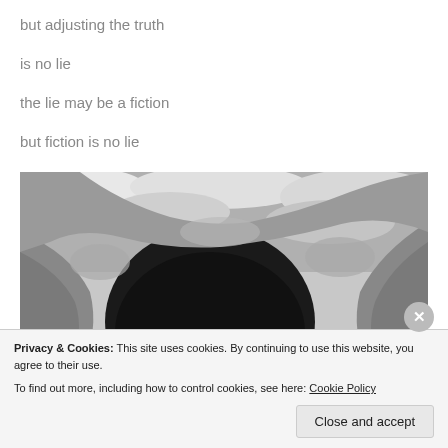but adjusting the truth
is no lie
the lie may be a fiction
but fiction is no lie
[Figure (photo): A photograph of a dark cave or tunnel opening viewed from outside, showing rugged rocky walls with snow or light-colored rock around the circular dark void, with a pale stone visible at the bottom center.]
Privacy & Cookies: This site uses cookies. By continuing to use this website, you agree to their use.
To find out more, including how to control cookies, see here: Cookie Policy
Close and accept